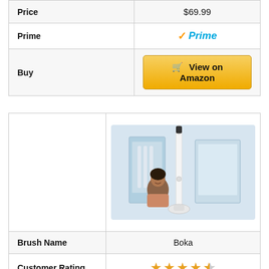|  |  |
| --- | --- |
| Price | $69.99 |
| Prime | ✓Prime |
| Buy | View on Amazon |
[Figure (photo): Electric toothbrush product photo showing toothbrush, packaging box, charging base, and a woman smiling]
|  |  |
| --- | --- |
| Brush Name | Boka |
| Customer Rating | 4 out of 5 stars |
| Electric Tooth Brush | ... |